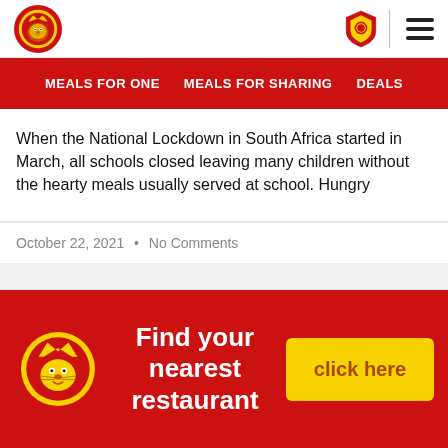Burger King / Restaurant logo header with navigation icons
MEALS FOR ONE   MEALS FOR SHARING   DEALS
When the National Lockdown in South Africa started in March, all schools closed leaving many children without the hearty meals usually served at school. Hungry
October 22, 2021  •  No Comments
Find your nearest restaurant  click here